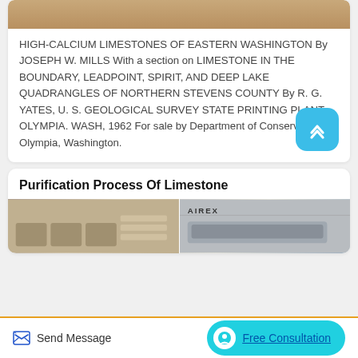[Figure (photo): Top edge of a limestone rock or sandy surface, cropped image bar at top of card]
HIGH-CALCIUM LIMESTONES OF EASTERN WASHINGTON By JOSEPH W. MILLS With a section on LIMESTONE IN THE BOUNDARY, LEADPOINT, SPIRIT, AND DEEP LAKE QUADRANGLES OF NORTHERN STEVENS COUNTY By R. G. YATES, U. S. GEOLOGICAL SURVEY STATE PRINTING PLANT, OLYMPIA. WASH, 1962 For sale by Department of Conservation, Olympia, Washington.
Purification Process Of Limestone
[Figure (photo): Two photos side by side at the bottom of the page — left shows shelf/rack equipment, right shows industrial equipment with AIREX label]
Send Message    Free Consultation